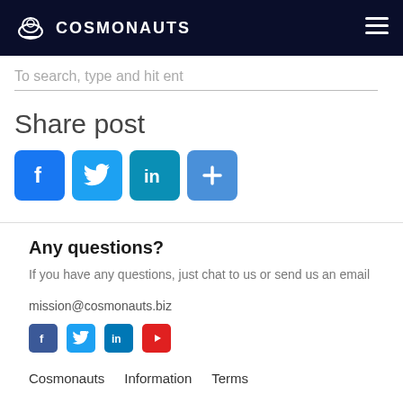COSMONAUTS
To search, type and hit ent
Share post
[Figure (infographic): Social share buttons: Facebook, Twitter, LinkedIn, and a plus button]
Any questions?
If you have any questions, just chat to us or send us an email
mission@cosmonauts.biz
[Figure (infographic): Social media icons: Facebook, Twitter, LinkedIn, YouTube]
Cosmonauts   Information   Terms